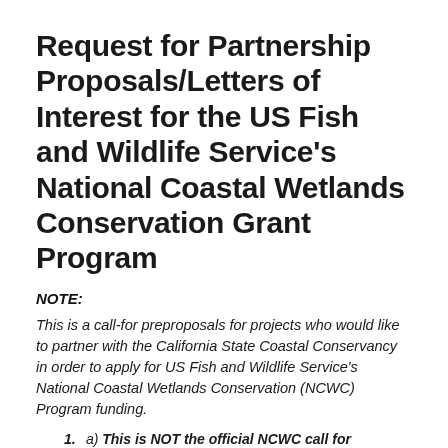Request for Partnership Proposals/Letters of Interest for the US Fish and Wildlife Service's National Coastal Wetlands Conservation Grant Program
NOTE:
This is a call-for preproposals for projects who would like to partner with the California State Coastal Conservancy in order to apply for US Fish and Wildlife Service's National Coastal Wetlands Conservation (NCWC) Program funding.
a) This is NOT the official NCWC call for applications.
b) Projects hoping to receive NCWC funding are NOT